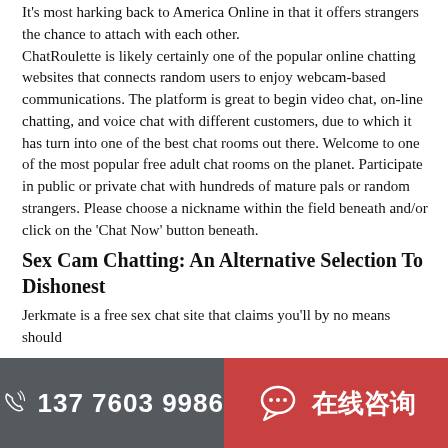It's most harking back to America Online in that it offers strangers the chance to attach with each other.
ChatRoulette is likely certainly one of the popular online chatting websites that connects random users to enjoy webcam-based communications. The platform is great to begin video chat, on-line chatting, and voice chat with different customers, due to which it has turn into one of the best chat rooms out there. Welcome to one of the most popular free adult chat rooms on the planet. Participate in public or private chat with hundreds of mature pals or random strangers. Please choose a nickname within the field beneath and/or click on the 'Chat Now' button beneath.
Sex Cam Chatting: An Alternative Selection To Dishonest
Jerkmate is a free sex chat site that claims you'll by no means should
137 7603 9986   在线咨询